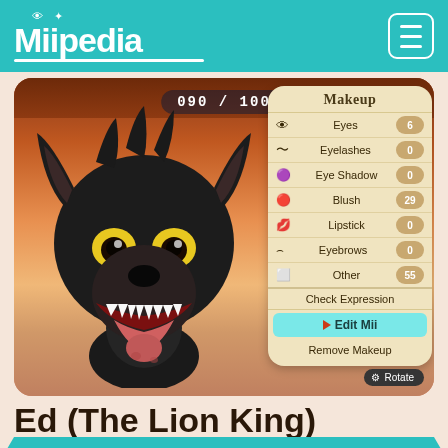Miipedia
[Figure (screenshot): Screenshot of a Nintendo Mii Maker game screen showing a hyena-like Mii character (Ed from The Lion King) with a dark fur appearance, yellow eyes, open mouth with teeth showing, and tongue out. The screen shows a Makeup menu panel on the right with options: Eyes (6), Eyelashes (0), Eye Shadow (0), Blush (29), Lipstick (0), Eyebrows (0), Other (55). Buttons at the bottom: Check Expression, Edit Mii (highlighted in teal), Remove Makeup. Score shows 090/100. Rotate button in bottom right.]
Ed (The Lion King)
4GH3KT
Tags